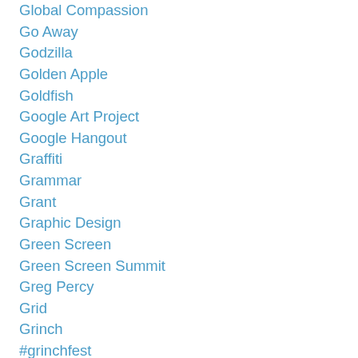Global Compassion
Go Away
Godzilla
Golden Apple
Goldfish
Google Art Project
Google Hangout
Graffiti
Grammar
Grant
Graphic Design
Green Screen
Green Screen Summit
Greg Percy
Grid
Grinch
#grinchfest
Groupon
Grow And Shrink
Growth
Growth Mindset